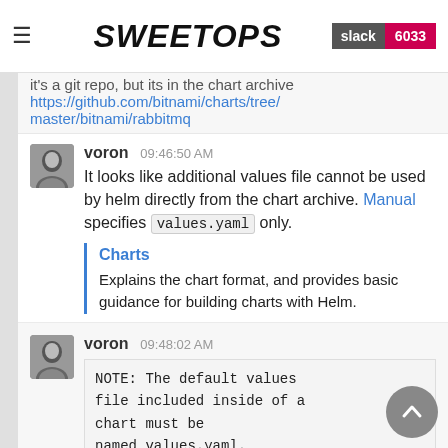SweetOps  slack 6033
it's a git repo, but its in the chart archive https://github.com/bitnami/charts/tree/master/bitnami/rabbitmq
voron 09:46:50 AM
It looks like additional values file cannot be used by helm directly from the chart archive. Manual specifies values.yaml only.
Charts
Explains the chart format, and provides basic guidance for building charts with Helm.
voron 09:48:02 AM
NOTE: The default values file included inside of a chart must be named values.yaml.